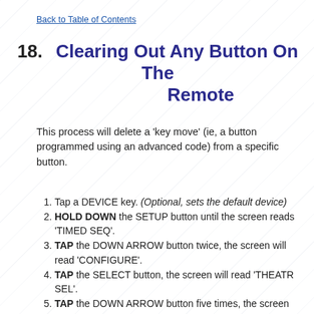Back to Table of Contents
18.   Clearing Out Any Button On The Remote
This process will delete a 'key move' (ie, a button programmed using an advanced code) from a specific button.
1. Tap a DEVICE key. (Optional, sets the default device)
2. HOLD DOWN the SETUP button until the screen reads 'TIMED SEQ'.
3. TAP the DOWN ARROW button twice, the screen will read 'CONFIGURE'.
4. TAP the SELECT button, the screen will read 'THEATR SEL'.
5. TAP the DOWN ARROW button five times, the screen will read 'KEY MOVER'.
6. TAP the SELECT button, the screen will read 'FROM'.
7. TAP the DEVICE button where you wish to delete the function FROM. (Optional, will use the default